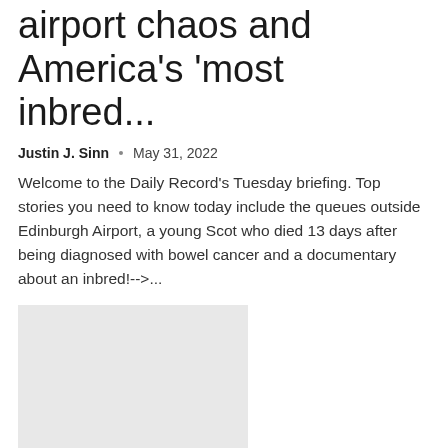airport chaos and America's 'most inbred...
Justin J. Sinn  •  May 31, 2022
Welcome to the Daily Record's Tuesday briefing. Top stories you need to know today include the queues outside Edinburgh Airport, a young Scot who died 13 days after being diagnosed with bowel cancer and a documentary about an inbred!-->...
[Figure (photo): Grey placeholder image for article thumbnail]
Tuesday Headlines: Early Voting Begins Today in Southe...